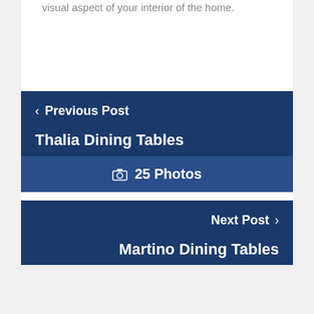visual aspect of your interior of the home.
‹ Previous Post
Thalia Dining Tables
🖼 25 Photos
Next Post ›
Martino Dining Tables
🖼 25 Photos